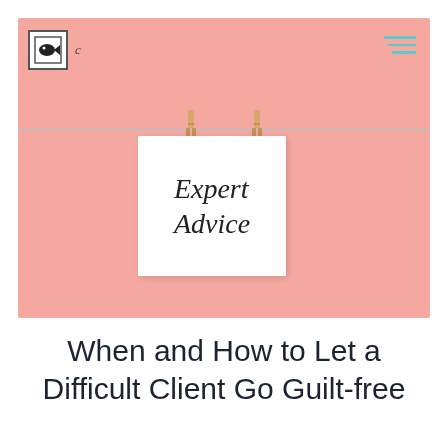[Figure (photo): Pink background photo with a white note card reading 'Expert Advice' hung on a rope with two wooden clothespins. A logo with a fish icon and letter 'c' is in the top left, and a teal hamburger menu icon is in the top right.]
When and How to Let a Difficult Client Go Guilt-free